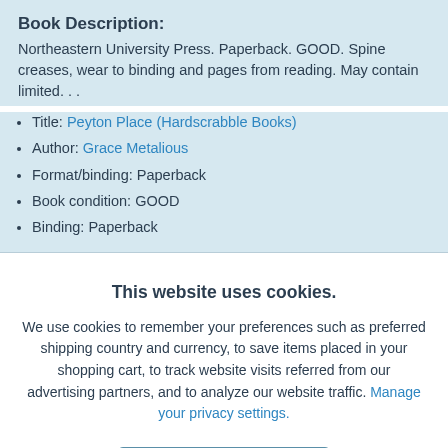Book Description:
Northeastern University Press. Paperback. GOOD. Spine creases, wear to binding and pages from reading. May contain limited...
Title: Peyton Place (Hardscrabble Books)
Author: Grace Metalious
Format/binding: Paperback
Book condition: GOOD
Binding: Paperback
This website uses cookies.
We use cookies to remember your preferences such as preferred shipping country and currency, to save items placed in your shopping cart, to track website visits referred from our advertising partners, and to analyze our website traffic. Manage your privacy settings.
AGREE AND CLOSE